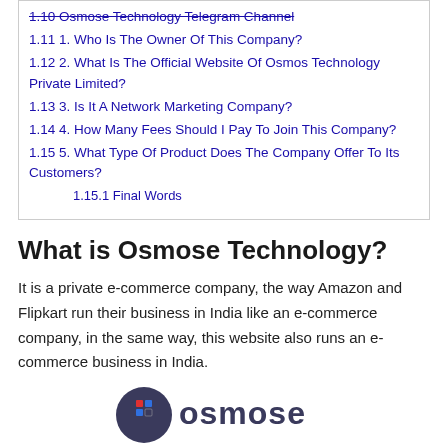1.10 Osmose Technology Telegram Channel
1.11 1. Who Is The Owner Of This Company?
1.12 2. What Is The Official Website Of Osmos Technology Private Limited?
1.13 3. Is It A Network Marketing Company?
1.14 4. How Many Fees Should I Pay To Join This Company?
1.15 5. What Type Of Product Does The Company Offer To Its Customers?
1.15.1 Final Words
What is Osmose Technology?
It is a private e-commerce company, the way Amazon and Flipkart run their business in India like an e-commerce company, in the same way, this website also runs an e-commerce business in India.
[Figure (logo): Osmose Technology logo — partial view at bottom of page]